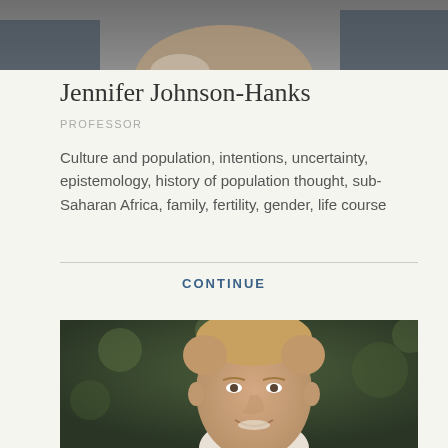[Figure (photo): Partial photo of a person cropped at the top of the page, showing the lower part of a face/shoulders]
Jennifer Johnson-Hanks
PROFESSOR
Culture and population, intentions, uncertainty, epistemology, history of population thought, sub-Saharan Africa, family, fertility, gender, life course
CONTINUE
[Figure (photo): Portrait photo of a middle-aged man with light brown/sandy hair, smiling, with a blurred outdoor background]